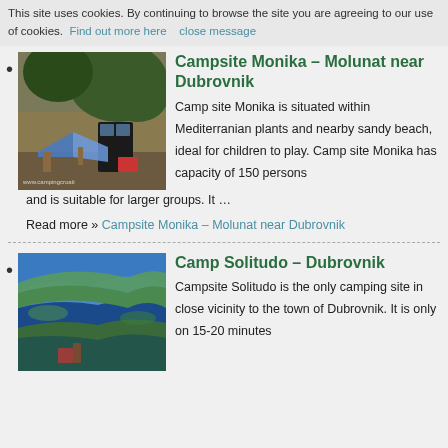This site uses cookies. By continuing to browse the site you are agreeing to our use of cookies. Find out more here   close message
Campsite Monika – Molunat near Dubrovnik
Camp site Monika is situated within Mediterranian plants and nearby sandy beach, ideal for children to play. Camp site Monika has capacity of 150 persons and is suitable for larger groups. It …
Read more » Campsite Monika – Molunat near Dubrovnik
Camp Solitudo – Dubrovnik
Campsite Solitudo is the only camping site in close vicinity to the town of Dubrovnik. It is only on 15-20 minutes